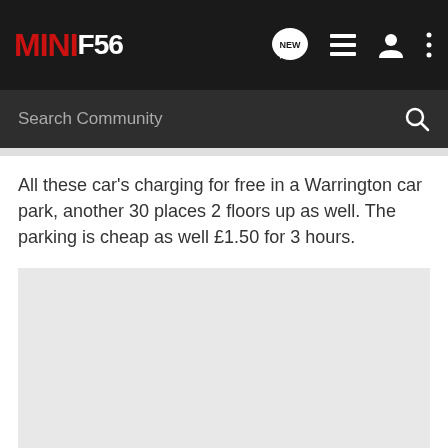MINIF56 — community forum navigation bar with search
All these car’s charging for free in a Warrington car park, another 30 places 2 floors up as well. The parking is cheap as well £1.50 for 3 hours.
[Figure (photo): Large light grey rectangular image placeholder area below the text content]